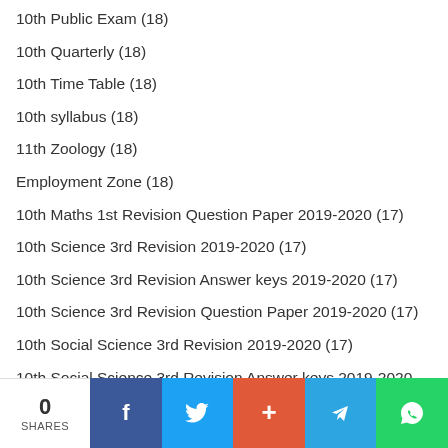10th Public Exam (18)
10th Quarterly (18)
10th Time Table (18)
10th syllabus (18)
11th Zoology (18)
Employment Zone (18)
10th Maths 1st Revision Question Paper 2019-2020 (17)
10th Science 3rd Revision 2019-2020 (17)
10th Science 3rd Revision Answer keys 2019-2020 (17)
10th Science 3rd Revision Question Paper 2019-2020 (17)
10th Social Science 3rd Revision 2019-2020 (17)
10th Social Science 3rd Revision Answer keys 2019-2020 (17)
0 SHARES | Facebook | Twitter | + | Telegram | WhatsApp